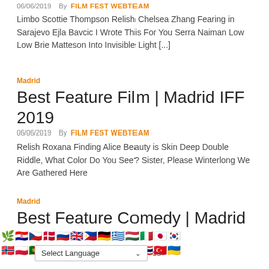06/06/2019   By  FILM FEST WEBTEAM
Limbo Scottie Thompson Relish Chelsea Zhang Fearing in Sarajevo Ejla Bavcic I Wrote This For You Serra Naiman Low Low Brie Matteson Into Invisible Light [...]
Madrid
Best Feature Film | Madrid IFF 2019
06/06/2019   By  FILM FEST WEBTEAM
Relish Roxana Finding Alice Beauty is Skin Deep Double Riddle, What Color Do You See? Sister, Please Winterlong We Are Gathered Here
Madrid
Best Feature Comedy | Madrid IFF 2019
[Figure (infographic): Two rows of country flag emoji icons representing language selection options]
Select Language